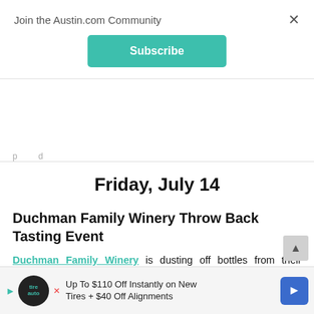Join the Austin.com Community
Subscribe
Friday, July 14
Duchman Family Winery Throw Back Tasting Event
Duchman Family Winery is dusting off bottles from their selection of 2011 award-winning vintages and offering guests the rare opportunity to taste a variety of their most notable wines. Duchman expert and General Manager Jeff Ogle will guide the tasting which includes bites by Chef Joseph Bannister... white...
[Figure (screenshot): Advertisement banner: Up To $110 Off Instantly on New Tires + $40 Off Alignments with logos and navigation arrow icon]